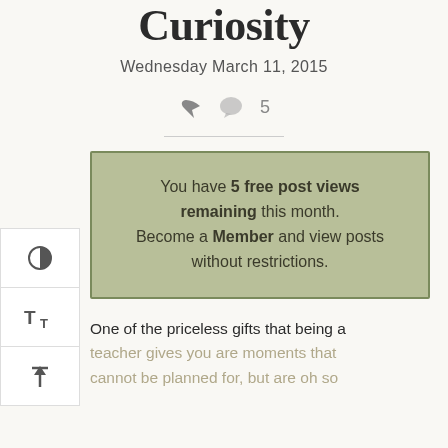Curiosity
Wednesday March 11, 2015
5
You have 5 free post views remaining this month. Become a Member and view posts without restrictions.
One of the priceless gifts that being a teacher gives you are moments that cannot be planned for, but are oh so